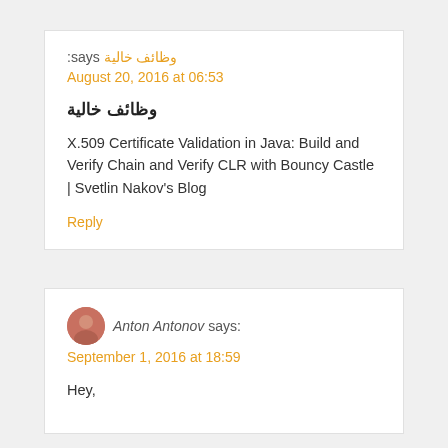وظائف خالية says: August 20, 2016 at 06:53
وظائف خالية
X.509 Certificate Validation in Java: Build and Verify Chain and Verify CLR with Bouncy Castle | Svetlin Nakov's Blog
Reply
Anton Antonov says: September 1, 2016 at 18:59
Hey,